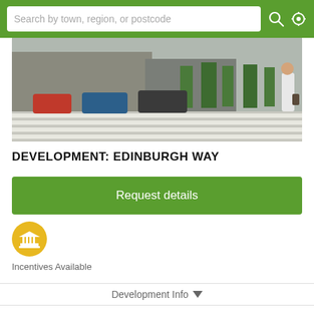Search by town, region, or postcode
[Figure (photo): Street scene with cars, a zebra crossing, trees, buildings and a pedestrian carrying a bag]
DEVELOPMENT: EDINBURGH WAY
Request details
[Figure (infographic): Yellow circle icon with a white building/institution symbol representing Incentives Available]
Incentives Available
Development Info
[Figure (logo): Teal/blue butterfly or cross-shaped logo at bottom]